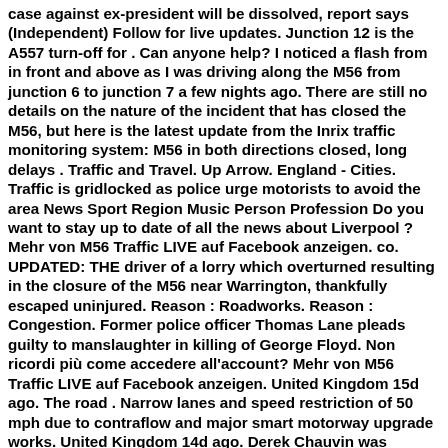case against ex-president will be dissolved, report says (Independent) Follow for live updates. Junction 12 is the A557 turn-off for . Can anyone help? I noticed a flash from in front and above as I was driving along the M56 from junction 6 to junction 7 a few nights ago. There are still no details on the nature of the incident that has closed the M56, but here is the latest update from the Inrix traffic monitoring system: M56 in both directions closed, long delays . Traffic and Travel. Up Arrow. England - Cities. Traffic is gridlocked as police urge motorists to avoid the area News Sport Region Music Person Profession Do you want to stay up to date of all the news about Liverpool ? Mehr von M56 Traffic LIVE auf Facebook anzeigen. co. UPDATED: THE driver of a lorry which overturned resulting in the closure of the M56 near Warrington, thankfully escaped uninjured. Reason : Roadworks. Reason : Congestion. Former police officer Thomas Lane pleads guilty to manslaughter in killing of George Floyd. Non ricordi più come accedere all'account? Mehr von M56 Traffic LIVE auf Facebook anzeigen. United Kingdom 15d ago. The road . Narrow lanes and speed restriction of 50 mph due to contraflow and major smart motorway upgrade works. United Kingdom 14d ago. Derek Chauvin was previously convicted of murder in Floyd's killing. Roads around Manchester Airport are in chaos after Insulate Britain protesters blocked the M56. The M56 has been closed in both directions near to Chester Zoo due to a "police